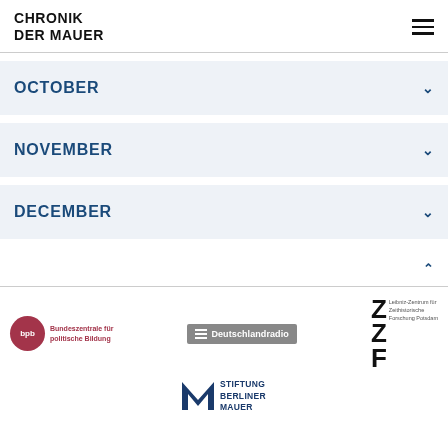CHRONIK DER MAUER
OCTOBER
NOVEMBER
DECEMBER
[Figure (logo): bpb Bundeszentrale für politische Bildung logo]
[Figure (logo): Deutschlandradio logo]
[Figure (logo): ZZF Leibniz-Zentrum für Zeithistorische Forschung Potsdam logo]
[Figure (logo): Stiftung Berliner Mauer logo]